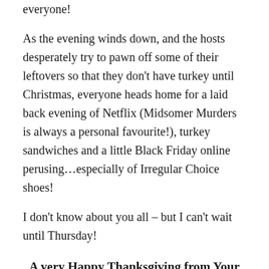everyone!
As the evening winds down, and the hosts desperately try to pawn off some of their leftovers so that they don't have turkey until Christmas, everyone heads home for a laid back evening of Netflix (Midsomer Murders is always a personal favourite!), turkey sandwiches and a little Black Friday online perusing…especially of Irregular Choice shoes!
I don't know about you all – but I can't wait until Thursday!
A very Happy Thanksgiving from Your RPO!